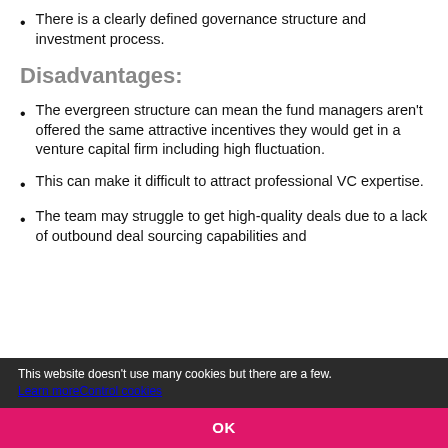There is a clearly defined governance structure and investment process.
Disadvantages:
The evergreen structure can mean the fund managers aren't offered the same attractive incentives they would get in a venture capital firm including high fluctuation.
This can make it difficult to attract professional VC expertise.
The team may struggle to get high-quality deals due to a lack of outbound deal sourcing capabilities and
This website doesn't use many cookies but there are a few. Learn more   Control cookies
OK